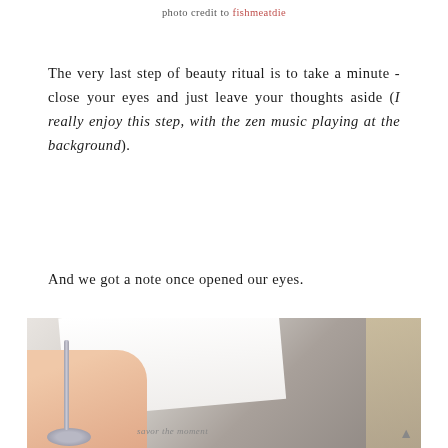photo credit to fishmeatdie
The very last step of beauty ritual is to take a minute - close your eyes and just leave your thoughts aside (I really enjoy this step, with the zen music playing at the background).
And we got a note once opened our eyes.
[Figure (photo): A hand holding a white card/note with text partially visible reading 'savor the moment', next to a metallic lamp base on a surface with a beige box in background.]